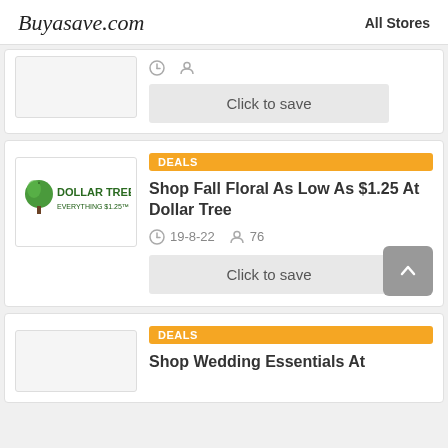Buyasave.com   All Stores
Click to save
DEALS
Shop Fall Floral As Low As $1.25 At Dollar Tree
19-8-22   76
Click to save
DEALS
Shop Wedding Essentials At